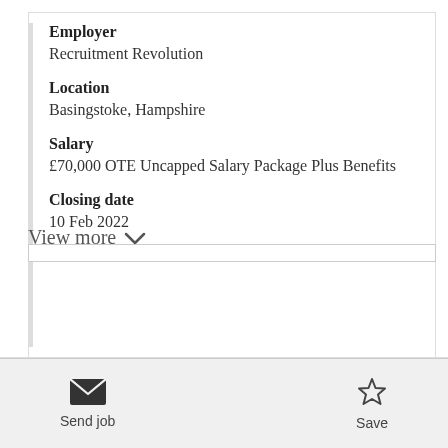Employer
Recruitment Revolution
Location
Basingstoke, Hampshire
Salary
£70,000 OTE Uncapped Salary Package Plus Benefits
Closing date
10 Feb 2022
View more
Send job
Save